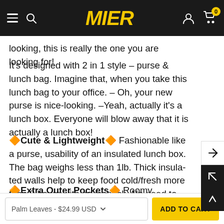MIER — navigation bar with hamburger menu, search, account, and cart (0 items)
looking, this is really the one you are looking for!
It's designed with 2 in 1 style – purse & lunch bag. Imagine that, when you take this lunch bag to your office. – Oh, your new purse is nice-looking. –Yeah, actually it's a lunch box. Everyone will blow away that it is actually a lunch box!
🔶Cute & Lightweight🔶 Fashionable like a purse, usability of an insulated lunch box. The bag weighs less than 1lb. Thick insulated walls help to keep food cold/fresh more than 8 hours with an icepack. No need to fight for fridge space at work anymore
🔶Extra Outer Pockets🔶 Roomy insulated compartment for containers and foods. 1 exterior zipper pocket (9.75″ wide * 7″ deep)
Palm Leaves - $24.99 USD    ADD TO CART